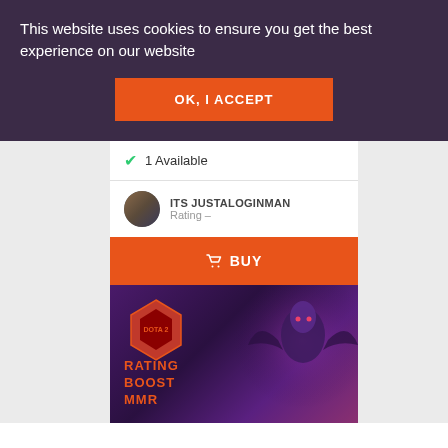This website uses cookies to ensure you get the best experience on our website
OK, I ACCEPT
1 Available
ITS JUSTALOGINMAN
Rating –
BUY
[Figure (screenshot): Dota 2 Rating Boost MMR game promotional image with character artwork and orange Dota 2 logo]